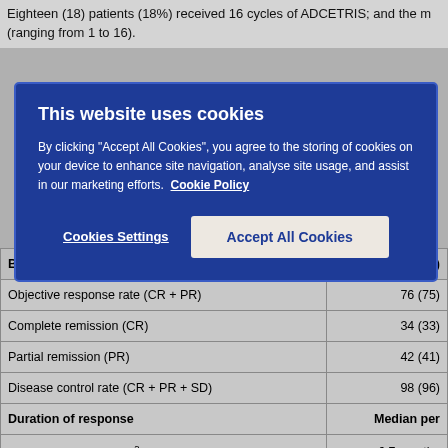Eighteen (18) patients (18%) received 16 cycles of ADCETRIS; and the m (ranging from 1 to 16).
[Figure (screenshot): Cookie consent modal overlay with dark blue background. Title: 'This website uses cookies'. Body text about accepting cookies and Cookie Policy link. Two buttons: 'Cookies Settings' and 'Accept All Cookies'.]
| Best clinical response (n = 102 ) | IRF n (%) |
| --- | --- |
| Objective response rate (CR + PR) | 76 (75) |
| Complete remission (CR) | 34 (33) |
| Partial remission (PR) | 42 (41) |
| Disease control rate (CR + PR + SD) | 98 (96) |
| Duration of response | Median per |
| Objective ... (IRF = 57)² | 6.7 months |